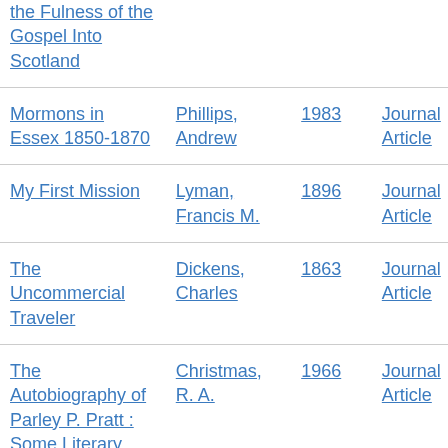| Title | Author | Year | Type |
| --- | --- | --- | --- |
| the Fulness of the Gospel Into Scotland |  |  |  |
| Mormons in Essex 1850-1870 | Phillips, Andrew | 1983 | Journal Article |
| My First Mission | Lyman, Francis M. | 1896 | Journal Article |
| The Uncommercial Traveler | Dickens, Charles | 1863 | Journal Article |
| The Autobiography of Parley P. Pratt : Some Literary, Historical, and | Christmas, R. A. | 1966 | Journal Article |